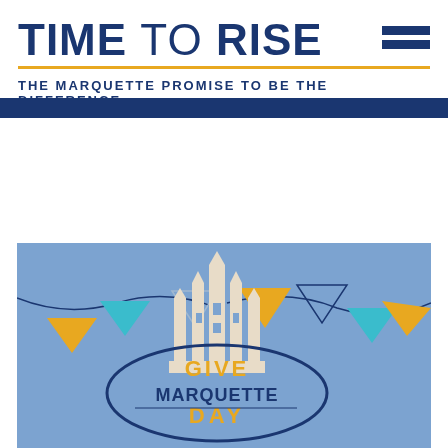TIME TO RISE
THE MARQUETTE PROMISE TO BE THE DIFFERENCE
[Figure (illustration): Give Marquette Day promotional graphic with blue background, bunting flags in gold, blue, and teal, an illustrated church/building silhouette in cream, and an oval badge reading 'GIVE MARQUETTE DAY' in dark blue and gold text.]